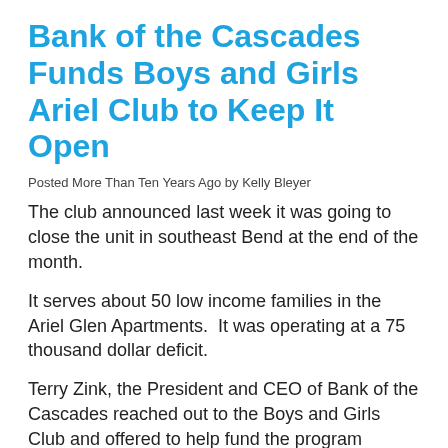Bank of the Cascades Funds Boys and Girls Ariel Club to Keep It Open
Posted More Than Ten Years Ago by Kelly Bleyer
The club announced last week it was going to close the unit in southeast Bend at the end of the month.
It serves about 50 low income families in the Ariel Glen Apartments.  It was operating at a 75 thousand dollar deficit.
Terry Zink, the President and CEO of Bank of the Cascades reached out to the Boys and Girls Club and offered to help fund the program through the spring of 2013.